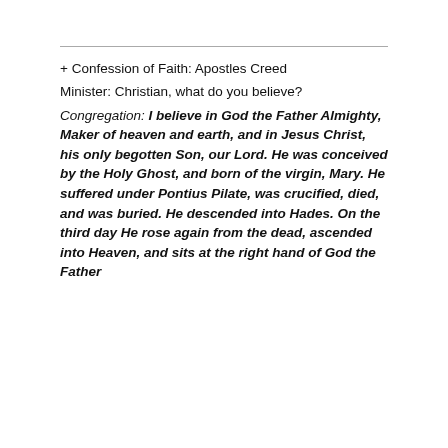+ Confession of Faith: Apostles Creed
Minister: Christian, what do you believe?
Congregation: I believe in God the Father Almighty, Maker of heaven and earth, and in Jesus Christ, his only begotten Son, our Lord.  He was conceived by the Holy Ghost, and born of the virgin, Mary.  He suffered under Pontius Pilate, was crucified, died, and was buried.  He descended into Hades.  On the third day He rose again from the dead, ascended into Heaven, and sits at the right hand of God the Father